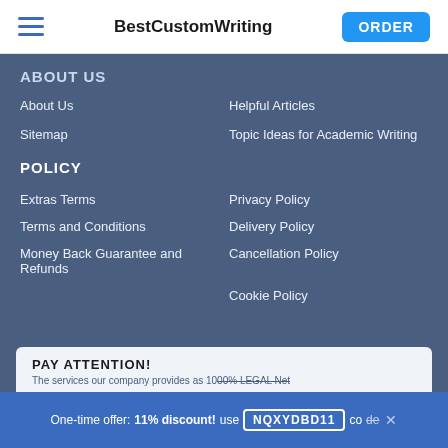BestCustomWriting | ORDER
ABOUT US
About Us
Helpful Articles
Sitemap
Topic Ideas for Academic Writing
POLICY
Extras Terms
Privacy Policy
Terms and Conditions
Delivery Policy
Money Back Guarantee and Refunds
Cancellation Policy
Cookie Policy
PAY ATTENTION!
The services our company provides as 100% LEGAL Net
One-time offer: 11% discount! use NQXYDBD11 code